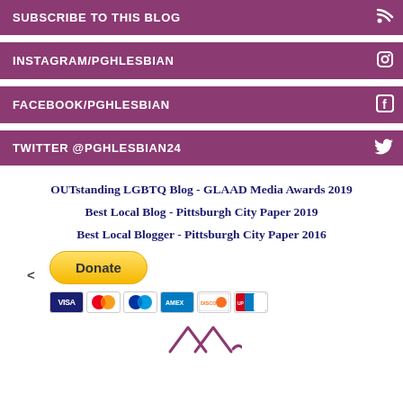SUBSCRIBE TO THIS BLOG
INSTAGRAM/PGHLESBIAN
FACEBOOK/PGHLESBIAN
TWITTER @PGHLESBIAN24
OUTstanding LGBTQ Blog - GLAAD Media Awards 2019
Best Local Blog - Pittsburgh City Paper 2019
Best Local Blogger - Pittsburgh City Paper 2016
[Figure (other): Donate button with payment card icons (Visa, Mastercard, Mastercard, Amex, Discover, UnionPay)]
[Figure (other): Decorative chevron/caret symbols at the bottom of the page]